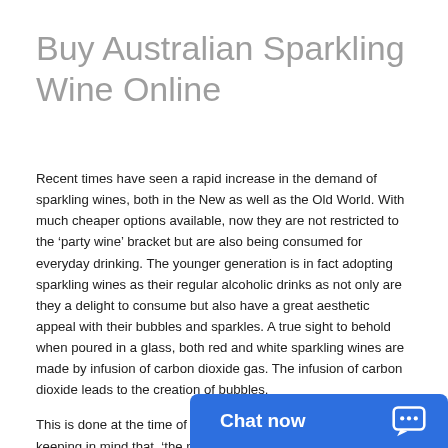Buy Australian Sparkling Wine Online
Recent times have seen a rapid increase in the demand of sparkling wines, both in the New as well as the Old World. With much cheaper options available, now they are not restricted to the ‘party wine’ bracket but are also being consumed for everyday drinking. The younger generation is in fact adopting sparkling wines as their regular alcoholic drinks as not only are they a delight to consume but also have a great aesthetic appeal with their bubbles and sparkles. A true sight to behold when poured in a glass, both red and white sparkling wines are made by infusion of carbon dioxide gas. The infusion of carbon dioxide leads to the creation of bubbles.
This is done at the time of secondary fermentation of grapes keeping in mind that, ‘the more the fizz, the better the sparkling wine’.
Exactly like the way fizz a… sparkling wines add joy a…
[Figure (other): Blue chat widget overlay with 'Chat now' text and speech bubble icon]